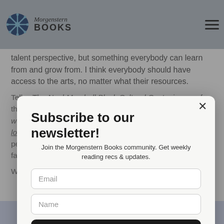Morgenstern Books
talent perspective, but something everybody can learn from and grow from. I think everybody should have access to the arts, no matter what their resources.
Tell... The Neal-Marshall Black Cultural Center is one of the oldest black culture centers in the country. In 2019-20, we celebrated our 50th year anniversary. We focused a lot of attention that year on honoring our ancestors, the people who made things possible at IU for black students, faculty and staff.
When I became the director in 2020, I wanted us to
Subscribe to our newsletter!
Join the Morgenstern Books community. Get weekly reading recs & updates.
Email
Name
Subscribe
POWERED BY weebly